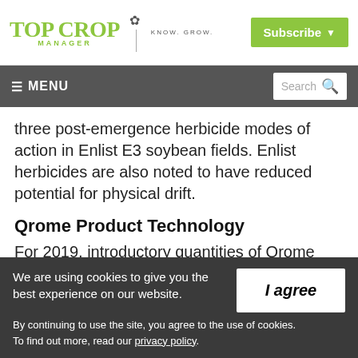Top Crop Manager | Know. Grow. | Subscribe
≡ MENU | Search
three post-emergence herbicide modes of action in Enlist E3 soybean fields. Enlist herbicides are also noted to have reduced potential for physical drift.
Qrome Product Technology
For 2019, introductory quantities of Qrome
We are using cookies to give you the best experience on our website. By continuing to use the site, you agree to the use of cookies. To find out more, read our privacy policy.